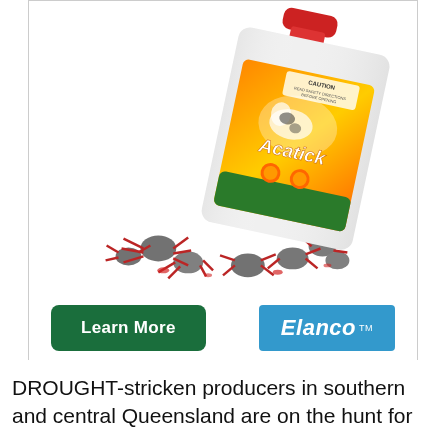[Figure (photo): Advertisement for Acatick (Elanco) livestock tick treatment product. Shows a large white plastic bottle/container with an orange-yellow label featuring a cow image and the Acatick brand name. Around the base of the bottle are illustrated ticks. At the bottom of the ad are a green 'Learn More' button and the Elanco logo on a blue background.]
DROUGHT-stricken producers in southern and central Queensland are on the hunt for